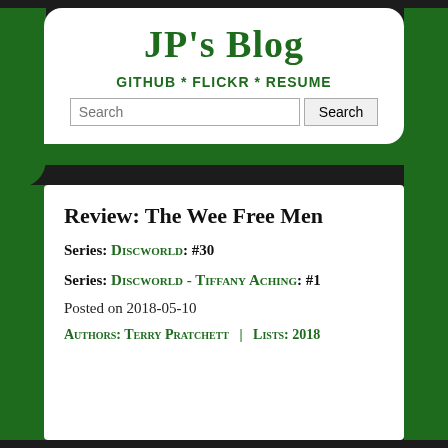JP's Blog
GITHUB * FLICKR * RESUME
Review: The Wee Free Men
Series: Discworld: #30
Series: Discworld - Tiffany Aching: #1
Posted on 2018-05-10
Authors: Terry Pratchett  |  Lists: 2018